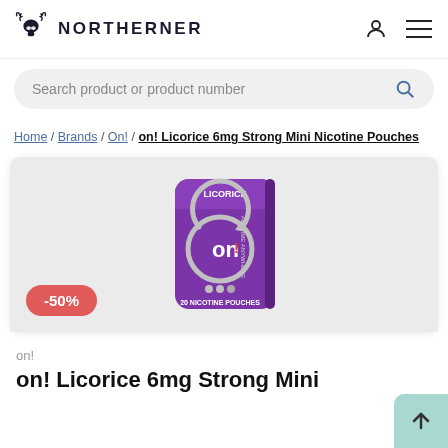NORTHERNER
Search product or product number
Home / Brands / On! / on! Licorice 6mg Strong Mini Nicotine Pouches
[Figure (photo): on! Licorice nicotine pouch tin in purple color showing the on! logo and text '20 NICOTINE POUCHES', 'ANYTIME ANYWHERE', 'LICORICE'. A red discount badge shows -50%.]
on!
on! Licorice 6mg Strong Mini